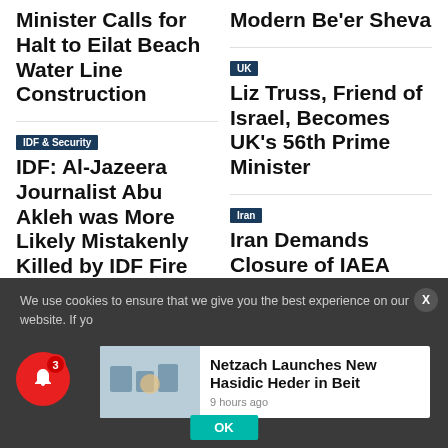Minister Calls for Halt to Eilat Beach Water Line Construction
Modern Be'er Sheva
IDF & Security
IDF: Al-Jazeera Journalist Abu Akleh was More Likely Mistakenly Killed by IDF Fire
UK
Liz Truss, Friend of Israel, Becomes UK's 56th Prime Minister
Media
Finally: Ken Burns Explores the US Role in the
Iran
Iran Demands Closure of IAEA Probes Before
We use cookies to ensure that we give you the best experience on our website. If yo
Netzach Launches New Hasidic Heder in Beit
9 hours ago
OK